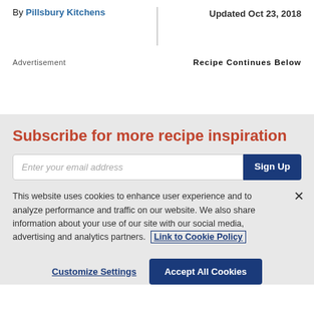By Pillsbury Kitchens
Updated Oct 23, 2018
Advertisement
Recipe Continues Below
Subscribe for more recipe inspiration
Enter your email address
Sign Up
This website uses cookies to enhance user experience and to analyze performance and traffic on our website. We also share information about your use of our site with our social media, advertising and analytics partners. Link to Cookie Policy
Customize Settings
Accept All Cookies